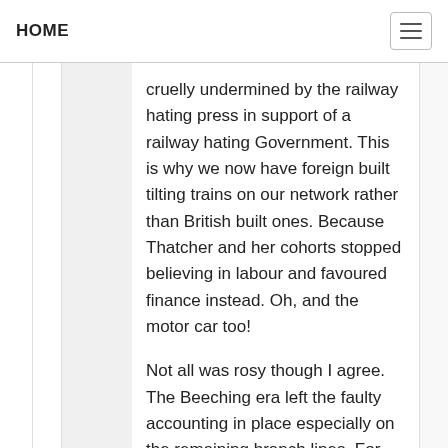HOME
cruelly undermined by the railway hating press in support of a railway hating Government. This is why we now have foreign built tilting trains on our network rather than British built ones. Because Thatcher and her cohorts stopped believing in labour and favoured finance instead. Oh, and the motor car too!
Not all was rosy though I agree. The Beeching era left the faulty accounting in place especially on the remaining branch lines. For example, Matlock used to get around 4 trains a day in the old BR days if it was lucky; now it's